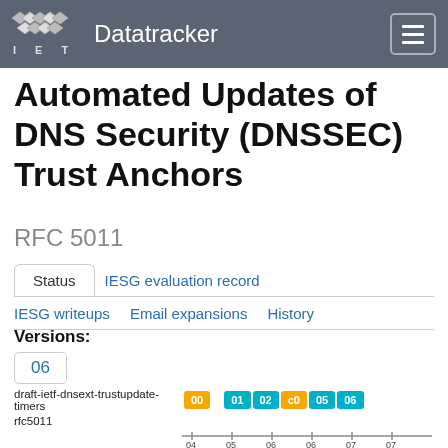IETF Datatracker
Automated Updates of DNS Security (DNSSEC) Trust Anchors
RFC 5011
Status	IESG evaluation record
IESG writeups	Email expansions	History
Versions:
06
draft-ietf-dnsext-trustupdate-timers
rfc5011